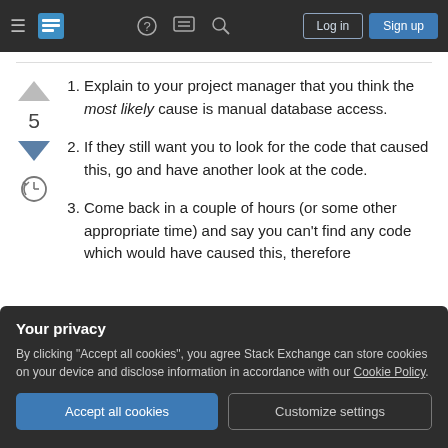Stack Exchange navigation bar with Log in and Sign up buttons
Explain to your project manager that you think the most likely cause is manual database access.
If they still want you to look for the code that caused this, go and have another look at the code.
Come back in a couple of hours (or some other appropriate time) and say you can't find any code which would have caused this, therefore
Your privacy
By clicking "Accept all cookies", you agree Stack Exchange can store cookies on your device and disclose information in accordance with our Cookie Policy.
working on feature X, bug Y or enhancement Z